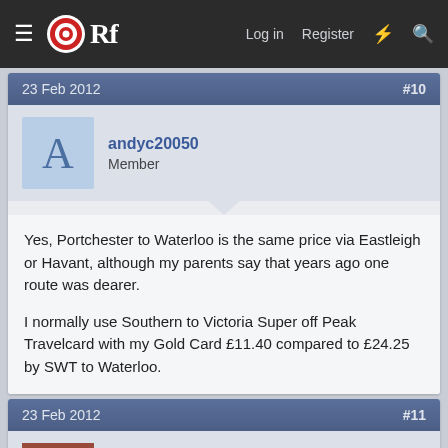ORf — Log in  Register
23 Feb 2012  #10
andyc20050
Member
Yes, Portchester to Waterloo is the same price via Eastleigh or Havant, although my parents say that years ago one route was dearer.

I normally use Southern to Victoria Super off Peak Travelcard with my Gold Card £11.40 compared to £24.25 by SWT to Waterloo.
23 Feb 2012  #11
bb21
Emeritus Moderator
Oracle said: ↑